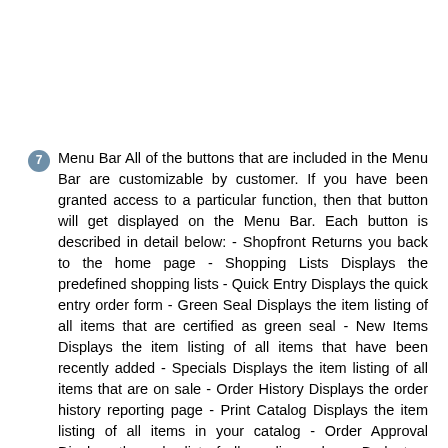7 Menu Bar All of the buttons that are included in the Menu Bar are customizable by customer. If you have been granted access to a particular function, then that button will get displayed on the Menu Bar. Each button is described in detail below: - Shopfront Returns you back to the home page - Shopping Lists Displays the predefined shopping lists - Quick Entry Displays the quick entry order form - Green Seal Displays the item listing of all items that are certified as green seal - New Items Displays the item listing of all items that have been recently added - Specials Displays the item listing of all items that are on sale - Order History Displays the order history reporting page - Print Catalog Displays the item listing of all items in your catalog - Order Approval Displays the order list of all pending orders - Budgets s Displays the detailed budget information - Cart Displays the shopping cart.